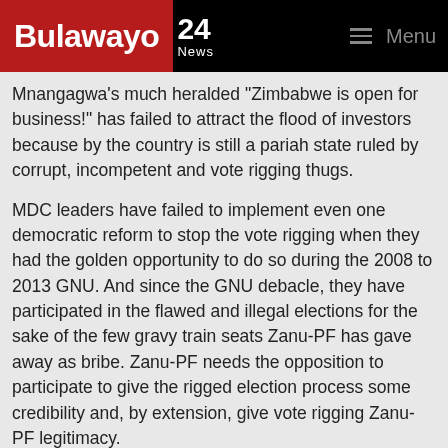Bulawayo 24 News — Menu
Mnangagwa's much heralded "Zimbabwe is open for business!" has failed to attract the flood of investors because by the country is still a pariah state ruled by corrupt, incompetent and vote rigging thugs.
MDC leaders have failed to implement even one democratic reform to stop the vote rigging when they had the golden opportunity to do so during the 2008 to 2013 GNU. And since the GNU debacle, they have participated in the flawed and illegal elections for the sake of the few gravy train seats Zanu-PF has gave away as bribe. Zanu-PF needs the opposition to participate to give the rigged election process some credibility and, by extension, give vote rigging Zanu-PF legitimacy.
MDC leaders have known they cannot win rigged elections and have banked on the people staging street protests to cut their frustrations as an in-and-election year. However...